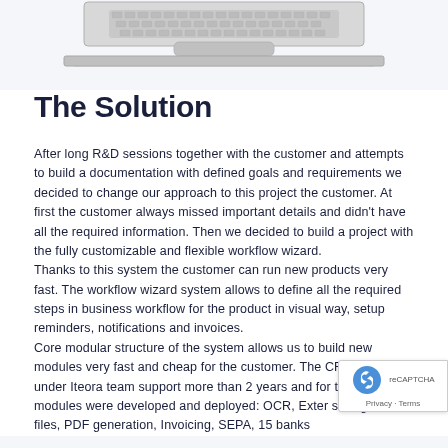[Figure (photo): Bottom portion of a laptop computer showing the base and keyboard area, silver/gray color, on a light blue-gray background]
The Solution
After long R&D sessions together with the customer and attempts to build a documentation with defined goals and requirements we decided to change our approach to this project the customer. At first the customer always missed important details and didn't have all the required information. Then we decided to build a project with the fully customizable and flexible workflow wizard.
Thanks to this system the customer can run new products very fast. The workflow wizard system allows to define all the required steps in business workflow for the product in visual way, setup reminders, notifications and invoices.
Core modular structure of the system allows us to build new modules very fast and cheap for the customer. The CRM sy... is under Iteora team support more than 2 years and for thi... a lot of modules were developed and deployed: OCR, Exter... storages for files, PDF generation, Invoicing, SEPA, 15 banks